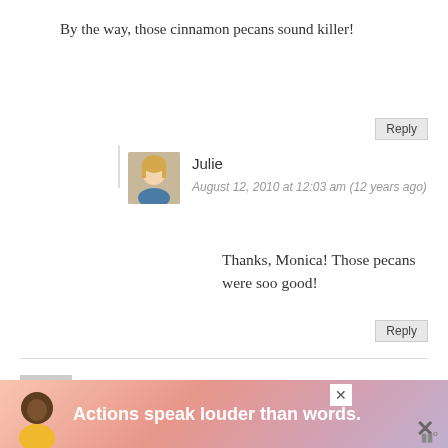By the way, those cinnamon pecans sound killer!
Reply
Julie
August 12, 2010 at 12:03 am (12 years ago)
Thanks, Monica! Those pecans were soo good!
Reply
Kaitlin
August 11, 2010 at 11:45 pm (12 years ago)
Oh my... I am a cereal fiend, but I HATE buying
[Figure (other): Advertisement banner with text 'Actions speak louder than words.' and a figure of a person, with close buttons]